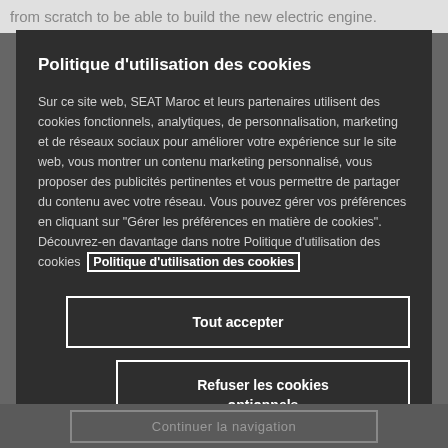from scratch to be able to build the new electric engine.
Politique d'utilisation des cookies
Sur ce site web, SEAT Maroc et leurs partenaires utilisent des cookies fonctionnels, analytiques, de personnalisation, marketing et de réseaux sociaux pour améliorer votre expérience sur le site web, vous montrer un contenu marketing personnalisé, vous proposer des publicités pertinentes et vous permettre de partager du contenu avec votre réseau. Vous pouvez gérer vos préférences en cliquant sur "Gérer les préférences en matière de cookies". Découvrez-en davantage dans notre Politique d'utilisation des cookies  Politique d'utilisation des cookies
Tout accepter
Refuser les cookies optionnels
Continuer la navigation